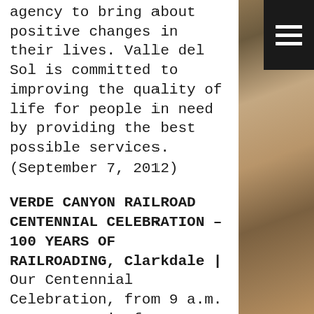agency to bring about positive changes in their lives. Valle del Sol is committed to improving the quality of life for people in need by providing the best possible services. (September 7, 2012)
VERDE CANYON RAILROAD CENTENNIAL CELEBRATION – 100 YEARS OF RAILROADING, Clarkdale |
Our Centennial Celebration, from 9 a.m. to 1 p.m., is free to the public. The train departs each day at 2 p.m. and requires a ticket purchase. Verde Canyon Railroad's knowledgeable staff will take visitors on a complimentary 20-minute tour of their vintage engines, only two of 10 remaining in North America; through the mid-last century passenger cars which once linked America coast to coast, and on a tour of the John Roll...
[Figure (other): Hamburger menu icon (three horizontal white lines on black background) in the top-right corner]